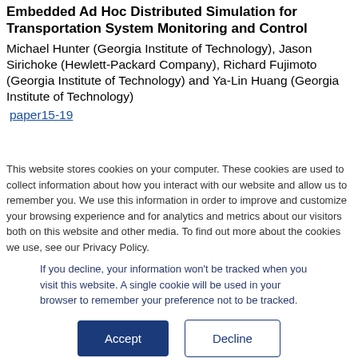Embedded Ad Hoc Distributed Simulation for Transportation System Monitoring and Control
Michael Hunter (Georgia Institute of Technology), Jason Sirichoke (Hewlett-Packard Company), Richard Fujimoto (Georgia Institute of Technology) and Ya-Lin Huang (Georgia Institute of Technology)
paper15-19
This website stores cookies on your computer. These cookies are used to collect information about how you interact with our website and allow us to remember you. We use this information in order to improve and customize your browsing experience and for analytics and metrics about our visitors both on this website and other media. To find out more about the cookies we use, see our Privacy Policy.
If you decline, your information won't be tracked when you visit this website. A single cookie will be used in your browser to remember your preference not to be tracked.